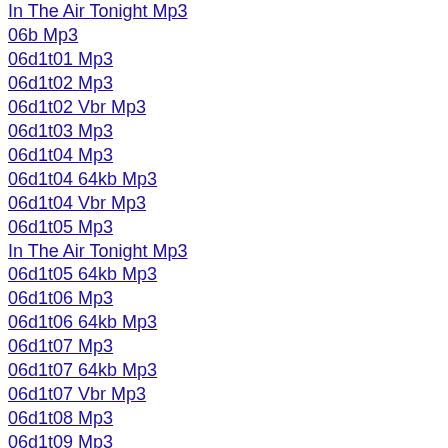In The Air Tonight Mp3
06b Mp3
06d1t01 Mp3
06d1t02 Mp3
06d1t02 Vbr Mp3
06d1t03 Mp3
06d1t04 Mp3
06d1t04 64kb Mp3
06d1t04 Vbr Mp3
06d1t05 Mp3
In The Air Tonight Mp3
06d1t05 64kb Mp3
06d1t06 Mp3
06d1t06 64kb Mp3
06d1t07 Mp3
06d1t07 64kb Mp3
06d1t07 Vbr Mp3
06d1t08 Mp3
06d1t09 Mp3
06d1t10 Mp3
In The Air Tonight Mp3
06d2t01 Mp3
06d2t02 Mp3
06d2t02 64kb Mp3
06d2t02 Vbr Mp3
06d2t03 Mp3